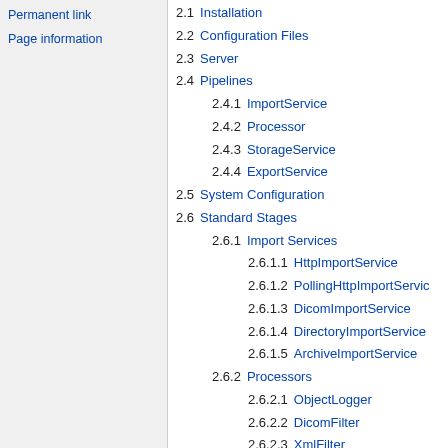Permanent link
Page information
2.1 Installation
2.2 Configuration Files
2.3 Server
2.4 Pipelines
2.4.1 ImportService
2.4.2 Processor
2.4.3 StorageService
2.4.4 ExportService
2.5 System Configuration
2.6 Standard Stages
2.6.1 Import Services
2.6.1.1 HttpImportService
2.6.1.2 PollingHttpImportService
2.6.1.3 DicomImportService
2.6.1.4 DirectoryImportService
2.6.1.5 ArchiveImportService
2.6.2 Processors
2.6.2.1 ObjectLogger
2.6.2.2 DicomFilter
2.6.2.3 XmlFilter
2.6.2.4 ZipFilter